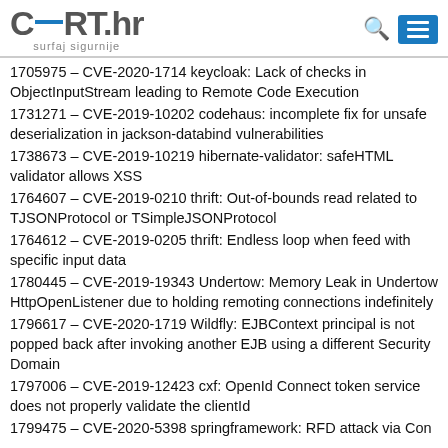CERT.hr surfaj sigurnije
1705975 – CVE-2020-1714 keycloak: Lack of checks in ObjectInputStream leading to Remote Code Execution
1731271 – CVE-2019-10202 codehaus: incomplete fix for unsafe deserialization in jackson-databind vulnerabilities
1738673 – CVE-2019-10219 hibernate-validator: safeHTML validator allows XSS
1764607 – CVE-2019-0210 thrift: Out-of-bounds read related to TJSONProtocol or TSimpleJSONProtocol
1764612 – CVE-2019-0205 thrift: Endless loop when feed with specific input data
1780445 – CVE-2019-19343 Undertow: Memory Leak in Undertow HttpOpenListener due to holding remoting connections indefinitely
1796617 – CVE-2020-1719 Wildfly: EJBContext principal is not popped back after invoking another EJB using a different Security Domain
1797006 – CVE-2019-12423 cxf: OpenId Connect token service does not properly validate the clientId
1799475 – CVE-2020-5398 springframework: RFD attack via Con...